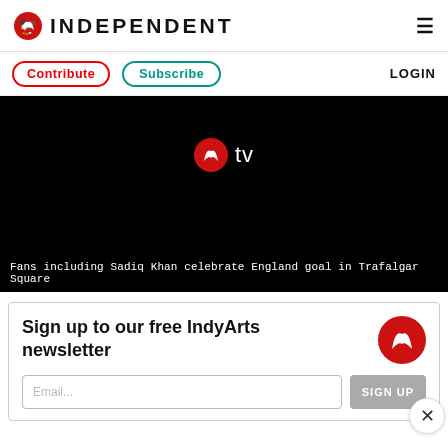INDEPENDENT
Contribute | Subscribe | LOGIN
[Figure (screenshot): Dark video player showing IndyTV logo (eagle icon + 'tv' text) on black background]
Fans including Sadiq Khan celebrate England goal in Trafalgar Square
Sign up to our free IndyArts newsletter
Email input field and SIGNUP button